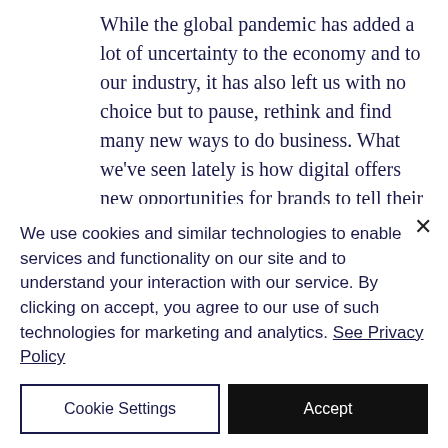While the global pandemic has added a lot of uncertainty to the economy and to our industry, it has also left us with no choice but to pause, rethink and find many new ways to do business. What we've seen lately is how digital offers new opportunities for brands to tell their stories and new ways to connect with global audiences and customers. This September's LFW will continue to celebrate the wonderful eccentricity of
We use cookies and similar technologies to enable services and functionality on our site and to understand your interaction with our service. By clicking on accept, you agree to our use of such technologies for marketing and analytics. See Privacy Policy
Cookie Settings
Accept